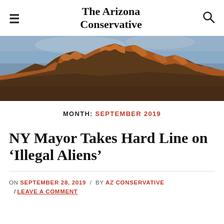The Arizona Conservative
[Figure (photo): Photograph of red/orange rocky mountain formation (Superstition Mountains) against a blue-grey sky at golden hour]
MONTH: SEPTEMBER 2019
NY Mayor Takes Hard Line on ‘Illegal Aliens’
ON SEPTEMBER 28, 2019 / BY AZ CONSERVATIVE
/ LEAVE A COMMENT